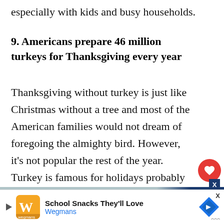especially with kids and busy households.
9. Americans prepare 46 million turkeys for Thanksgiving every year
Thanksgiving without turkey is just like Christmas without a tree and most of the American families would not dream of foregoing the almighty bird. However, it's not popular the rest of the year. Turkey is famous for holidays probably because it helps with large gatherings.
[Figure (other): Advertisement banner for Wegmans: School Snacks They'll Love]
School Snacks They'll Love
Wegmans